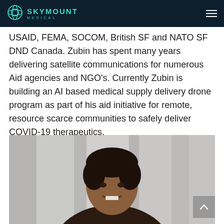SKYMOUNT MEDICAL
USAID, FEMA, SOCOM, British SF and NATO SF DND Canada. Zubin has spent many years delivering satellite communications for numerous Aid agencies and NGO's. Currently Zubin is building an AI based medical supply delivery drone program as part of his aid initiative for remote, resource scarce communities to safely deliver COVID-19 therapeutics.
[Figure (photo): Headshot photograph of a smiling man with dark hair, wearing a dark top, photographed against a grey draped background.]